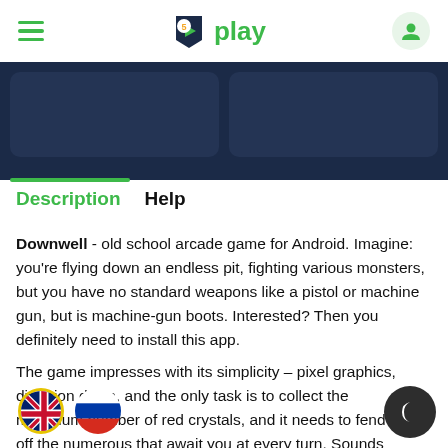5play - app store header with hamburger menu, logo, and profile icon
[Figure (screenshot): Dark blue banner section with two rounded rectangle placeholder cards]
Description   Help
Downwell - old school arcade game for Android. Imagine: you're flying down an endless pit, fighting various monsters, but you have no standard weapons like a pistol or machine gun, but is machine-gun boots. Interested? Then you definitely need to install this app.
The game impresses with its simplicity – pixel graphics, direction down, and the only task is to collect the maximum number of red crystals, and it needs to fend off the numerous that await you at every turn. Sounds simple? Yes, but addictive to watch because "one more level and that was